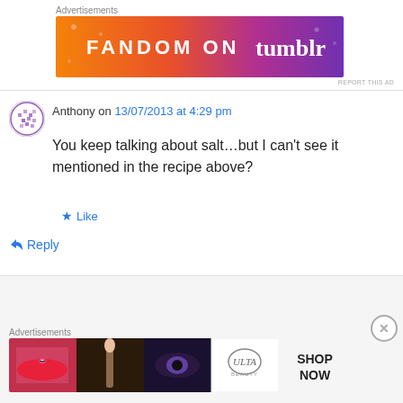Advertisements
[Figure (illustration): Fandom on Tumblr banner advertisement with orange-to-purple gradient and white text]
REPORT THIS AD
Anthony on 13/07/2013 at 4:29 pm
You keep talking about salt…but I can't see it mentioned in the recipe above?
Like
Reply
buttery77 on 17/07/2013 at 12:57 pm
Advertisements
[Figure (photo): Ulta beauty advertisement showing makeup products and models, with SHOP NOW text]